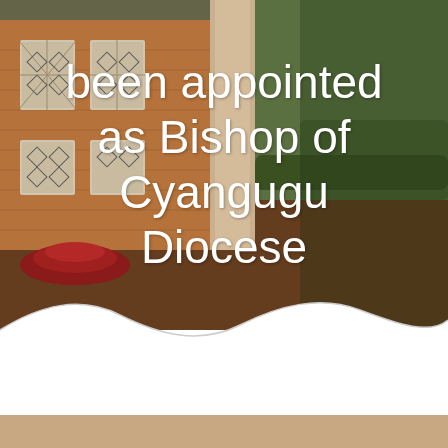[Figure (photo): Outdoor photo of a brick church building with decorative windows, a column/pillar, red circular steps, brown dirt courtyard, and green hedges/trees in background. Large white text overlaid reads: 'been appointed as Bishop of Cyangugu Diocese']
been appointed as Bishop of Cyangugu Diocese